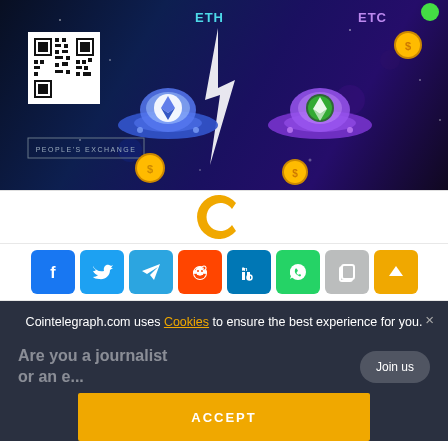[Figure (illustration): Cryptocurrency exchange banner showing ETH and ETC labels, two UFO-like spaceships with Ethereum logos, a lightning bolt between them, gold coins, a QR code, and 'PEOPLE'S EXCHANGE' text on a dark blue/purple background.]
[Figure (logo): Cointelegraph logo - partial orange/gold letter C]
[Figure (infographic): Row of social share buttons: Facebook (blue), Twitter (light blue), Telegram (teal), Reddit (orange-red), LinkedIn (blue), WhatsApp (green), Copy (gray), Scroll-up (yellow/gold)]
Cointelegraph.com uses Cookies to ensure the best experience for you.
Are you a journalist or an e...
Join us
ACCEPT